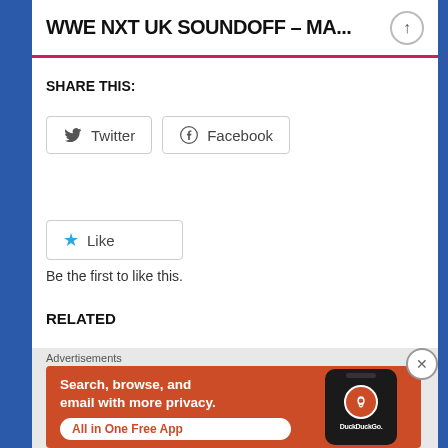WWE NXT UK SOUNDOFF – MA...
SHARE THIS:
Twitter  Facebook
Like
Be the first to like this.
RELATED
Advertisements
[Figure (screenshot): DuckDuckGo advertisement banner with orange background showing 'Search, browse, and email with more privacy. All in One Free App' with DuckDuckGo logo on a phone mockup.]